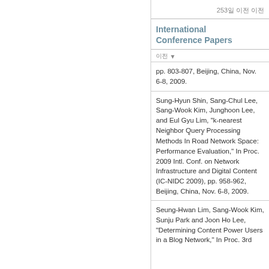253일 이전 이전
International Conference Papers
이전 ▼
pp. 803-807, Beijing, China, Nov. 6-8, 2009.
Sung-Hyun Shin, Sang-Chul Lee, Sang-Wook Kim, Junghoon Lee, and Eul Gyu Lim, "k-nearest Neighbor Query Processing Methods In Road Network Space: Performance Evaluation," In Proc. 2009 Intl. Conf. on Network Infrastructure and Digital Content (IC-NIDC 2009), pp. 958-962, Beijing, China, Nov. 6-8, 2009.
Seung-Hwan Lim, Sang-Wook Kim, Sunju Park and Joon Ho Lee, "Determining Content Power Users in a Blog Network," In Proc. 3rd